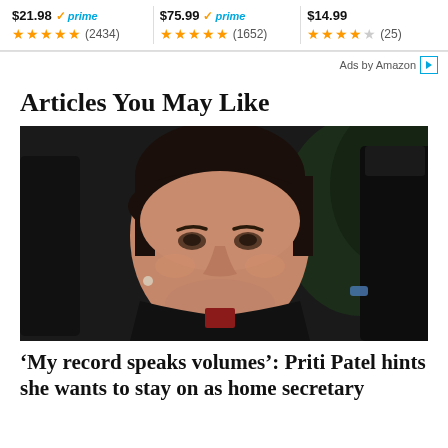[Figure (other): Amazon product ad bar showing three products with prices and star ratings: $21.98 Prime (2434 reviews, 5 stars), $75.99 Prime (1652 reviews, 5 stars), $14.99 (25 reviews, ~3.5 stars)]
Ads by Amazon ▷
Articles You May Like
[Figure (photo): Close-up photograph of Priti Patel looking to the side with a serious expression, wearing a black jacket, with other figures in the background]
'My record speaks volumes': Priti Patel hints she wants to stay on as home secretary